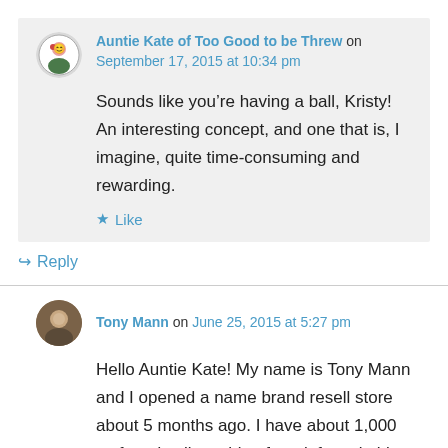Auntie Kate of Too Good to be Threw on September 17, 2015 at 10:34 pm
Sounds like you’re having a ball, Kristy! An interesting concept, and one that is, I imagine, quite time-consuming and rewarding.
★ Like
↪ Reply
Tony Mann on June 25, 2015 at 5:27 pm
Hello Auntie Kate! My name is Tony Mann and I opened a name brand resell store about 5 months ago. I have about 1,000 sq ft and sell anything from infant clothing to home items.